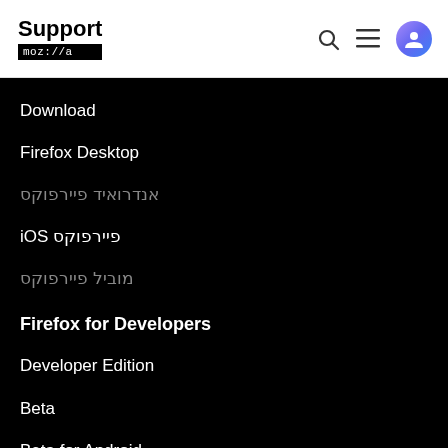Support mozilla // a
Download
Firefox Desktop
אנדרואיד פיירפוקס
iOS פיירפוקס
מוביל פיירפוקס
Firefox for Developers
Developer Edition
Beta
Beta for Android
Nightly
Nightly for Android